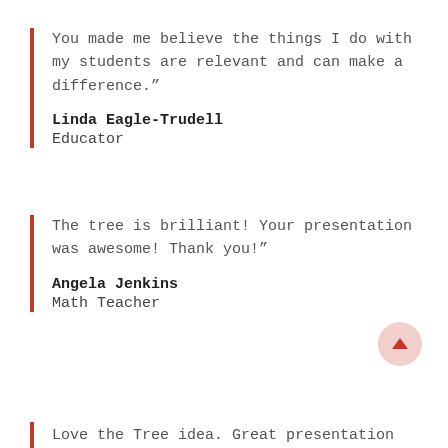You made me believe the things I do with my students are relevant and can make a difference.”
Linda Eagle-Trudell
Educator
The tree is brilliant! Your presentation was awesome! Thank you!”
Angela Jenkins
Math Teacher
Love the Tree idea. Great presentation